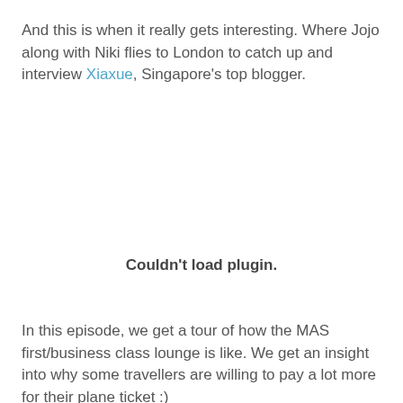And this is when it really gets interesting. Where Jojo along with Niki flies to London to catch up and interview Xiaxue, Singapore's top blogger.
[Figure (other): Couldn't load plugin. — embedded media player placeholder]
In this episode, we get a tour of how the MAS first/business class lounge is like. We get an insight into why some travellers are willing to pay a lot more for their plane ticket :)